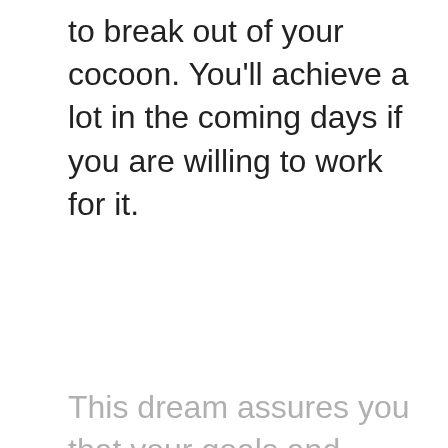to break out of your cocoon. You'll achieve a lot in the coming days if you are willing to work for it.
This dream assures you that your goals and dreams are within reach. You just